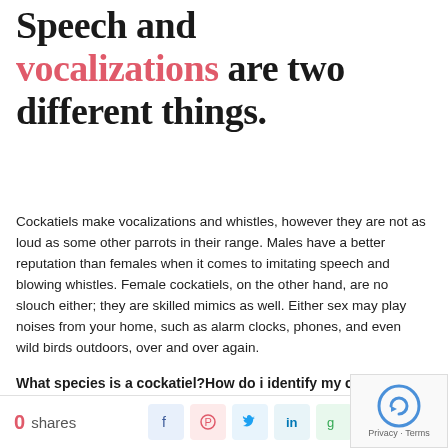Speech and vocalizations are two different things.
Cockatiels make vocalizations and whistles, however they are not as loud as some other parrots in their range. Males have a better reputation than females when it comes to imitating speech and blowing whistles. Female cockatiels, on the other hand, are no slouch either; they are skilled mimics as well. Either sex may play noises from your home, such as alarm clocks, phones, and even wild birds outdoors, over and over again.
What species is a cockatiel?How do i identify my cockatiel?
0 shares